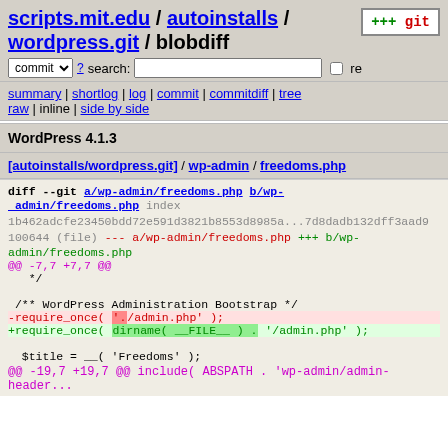scripts.mit.edu / autoinstalls / wordpress.git / blobdiff
summary | shortlog | log | commit | commitdiff | tree
raw | inline | side by side
WordPress 4.1.3
[autoinstalls/wordpress.git] / wp-admin / freedoms.php
[Figure (screenshot): Git diff view showing changes to wp-admin/freedoms.php. diff --git a/wp-admin/freedoms.php b/wp-admin/freedoms.php. index 1b462adcfe23450bdd72e591d3821b8553d8985a..7d8dadb132dff3aad9 100644 (file). --- a/wp-admin/freedoms.php +++ b/wp-admin/freedoms.php @@ -7,7 +7,7 @@ */  /** WordPress Administration Bootstrap */ -require_once( './admin.php' ); +require_once( dirname( __FILE__ ) . '/admin.php' );  $title = __( 'Freedoms' ); @@ -19,7 +19,7 @@ include( ABSPATH . 'wp-admin/admin-header...]